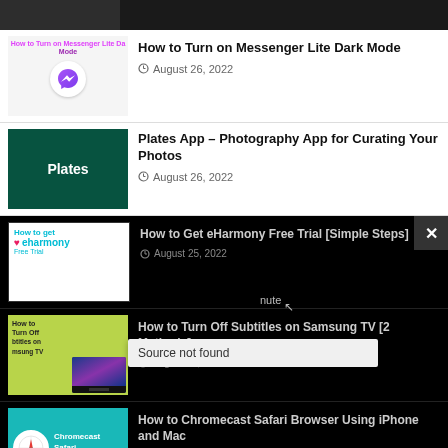[Figure (screenshot): Cropped top of article thumbnail, dark gray with Someone text]
[Figure (screenshot): Article listing: How to Turn on Messenger Lite Dark Mode, August 26 2022, with Messenger Lite thumbnail]
[Figure (screenshot): Article listing: Plates App – Photography App for Curating Your Photos, August 26 2022, with dark green Plates thumbnail]
[Figure (screenshot): Article listing: How to Get eHarmony Free Trial [Simple Steps], August 25 2022, dark overlay with eharmony thumbnail]
[Figure (screenshot): Article listing: How to Turn Off Subtitles on Samsung TV [2 Methods], August 25 2022, dark overlay with Samsung TV thumbnail and Source not found tooltip]
[Figure (screenshot): Article listing: How to Chromecast Safari Browser Using iPhone and Mac, August 25 2022, dark overlay with Chromecast Safari Browser thumbnail]